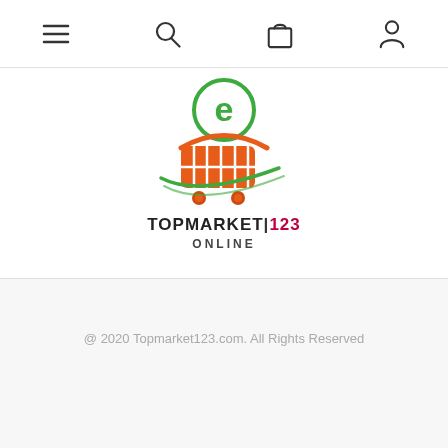[Figure (screenshot): Top navigation bar with hamburger menu, search, cart, and user account icons]
[Figure (logo): TOPMARKET123 ONLINE logo: green letter e in circle above an orange shopping cart with green swoosh, text TOPMARKET|123 ONLINE below]
@ 2020 Topmarket123.com. All Rights Reserved